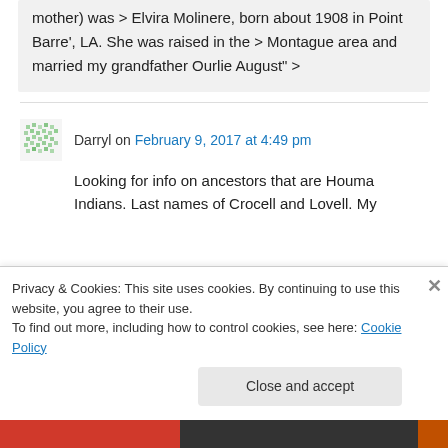mother) was > Elvira Molinere, born about 1908 in Point Barre', LA. She was raised in the > Montague area and married my grandfather Ourlie August" >
Darryl on February 9, 2017 at 4:49 pm
Looking for info on ancestors that are Houma Indians. Last names of Crocell and Lovell. My
Privacy & Cookies: This site uses cookies. By continuing to use this website, you agree to their use.
To find out more, including how to control cookies, see here: Cookie Policy